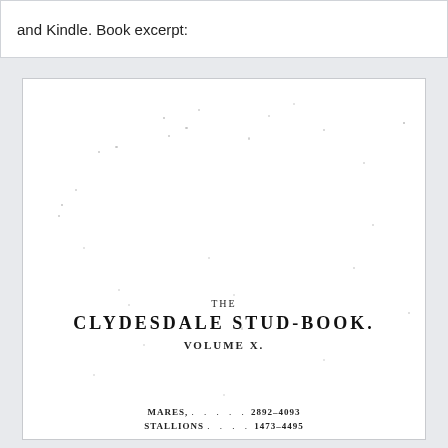and Kindle. Book excerpt:
[Figure (photo): Scanned book cover/title page of The Clydesdale Stud-Book, Volume X, showing THE / CLYDESDALE STUD-BOOK. / VOLUME X. / MARES, . . . . . 2892-4093 / STALLIONS . . . . 1473-4495]
THE CLYDESDALE STUD-BOOK.
VOLUME X.
MARES, . . . . . 2892-4093
STALLIONS . . . . 1473-4495